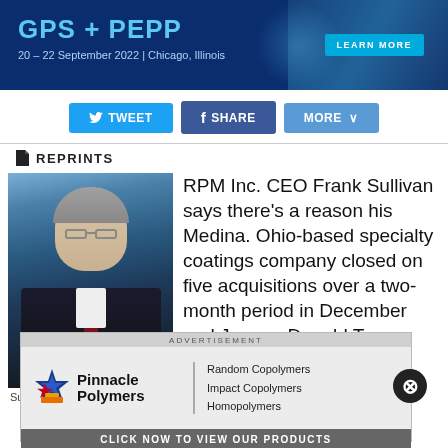[Figure (other): GPS + PEPP conference banner. Dark blue background with teal/cyan title text 'GPS + PEPP', subtitle '20 – 22 September 2022 | Chicago, Illinois', and a 'LEARN MORE' button on the right.]
TWEET   SHARE   MORE
REPRINTS
[Figure (photo): Headshot photo of Frank Sullivan, a middle-aged man with gray hair and glasses wearing a dark suit and red tie, against a blue background.]
RPM Inc. CEO Frank Sullivan says there's a reason his Medina. Ohio-based specialty coatings company closed on five acquisitions over a two-month period in December and January. Donald Trump.
Sullivan
[Figure (other): Advertisement overlay for Pinnacle Polymers showing logo with star, brand name, product list (Random Copolymers, Impact Copolymers, Homopolymers), and 'CLICK NOW TO VIEW OUR PRODUCTS' CTA button. An X close button appears in the top right.]